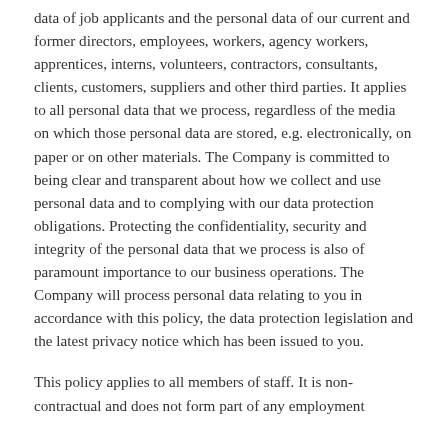data of job applicants and the personal data of our current and former directors, employees, workers, agency workers, apprentices, interns, volunteers, contractors, consultants, clients, customers, suppliers and other third parties. It applies to all personal data that we process, regardless of the media on which those personal data are stored, e.g. electronically, on paper or on other materials. The Company is committed to being clear and transparent about how we collect and use personal data and to complying with our data protection obligations. Protecting the confidentiality, security and integrity of the personal data that we process is also of paramount importance to our business operations. The Company will process personal data relating to you in accordance with this policy, the data protection legislation and the latest privacy notice which has been issued to you.
This policy applies to all members of staff. It is non-contractual and does not form part of any employment